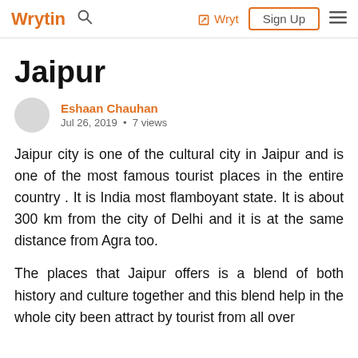Wrytin  🔍  ✏ Wryt  Sign Up  ☰
Jaipur
Eshaan Chauhan
Jul 26, 2019 • 7 views
Jaipur city is one of the cultural city in Jaipur and is one of the most famous tourist places in the entire country . It is India most flamboyant state. It is about 300 km from the city of Delhi and it is at the same distance from Agra too.
The places that Jaipur offers is a blend of both history and culture together and this blend help in the whole city been attract by tourist from all over